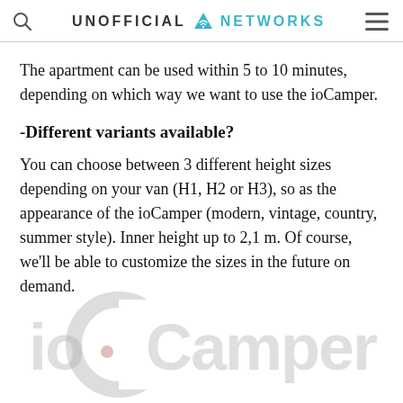UNOFFICIAL NETWORKS
The apartment can be used within 5 to 10 minutes, depending on which way we want to use the ioCamper.
-Different variants available?
You can choose between 3 different height sizes depending on your van (H1, H2 or H3), so as the appearance of the ioCamper (modern, vintage, country, summer style). Inner height up to 2,1 m. Of course, we'll be able to customize the sizes in the future on demand.
[Figure (logo): ioCamper watermark logo in light gray at the bottom of the page]